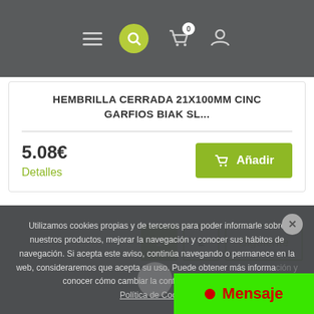Navigation bar with hamburger menu, search, cart (0), and user icon
HEMBRILLA CERRADA 21X100MM CINC GARFIOS BIAK SL...
5.08€
Detalles
Añadir
1  2  Siguiente
Utilizamos cookies propias y de terceros para poder informarle sobre nuestros productos, mejorar la navegación y conocer sus hábitos de navegación. Si acepta este aviso, continúa navegando o permanece en la web, consideraremos que acepta su uso. Puede obtener más información y conocer cómo cambiar la configuración en nuestra Política de Cookies.
Mensaje